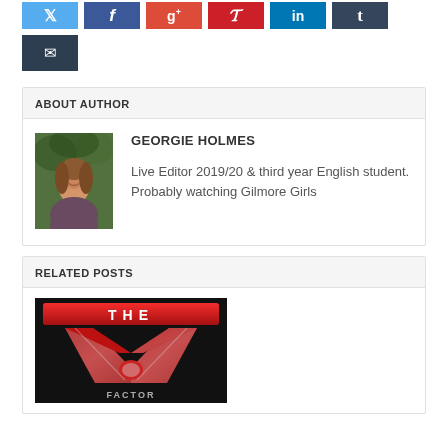[Figure (other): Social media sharing buttons: Twitter (blue), Facebook (dark blue), Google+ (red), Pinterest (red), LinkedIn (blue), Tumblr (dark blue), Email (dark blue/navy)]
ABOUT AUTHOR
[Figure (photo): Photo of Georgie Holmes, a young woman with long hair, smiling outdoors with trees in background]
GEORGIE HOLMES
Live Editor 2019/20 & third year English student. Probably watching Gilmore Girls
RELATED POSTS
[Figure (logo): The X Factor logo — red banner with 'THE' text and large metallic X in red and silver below]